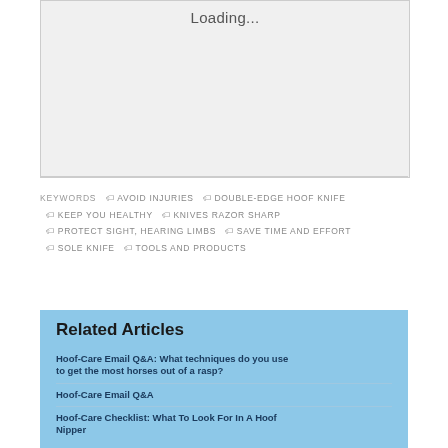[Figure (other): Loading placeholder box showing 'Loading...' text in a light gray rectangle]
KEYWORDS  🏷 AVOID INJURIES  🏷 DOUBLE-EDGE HOOF KNIFE  🏷 KEEP YOU HEALTHY  🏷 KNIVES RAZOR SHARP  🏷 PROTECT SIGHT, HEARING LIMBS  🏷 SAVE TIME AND EFFORT  🏷 SOLE KNIFE  🏷 TOOLS AND PRODUCTS
Related Articles
Hoof-Care Email Q&A: What techniques do you use to get the most horses out of a rasp?
Hoof-Care Email Q&A
Hoof-Care Checklist: What To Look For In A Hoof Nipper